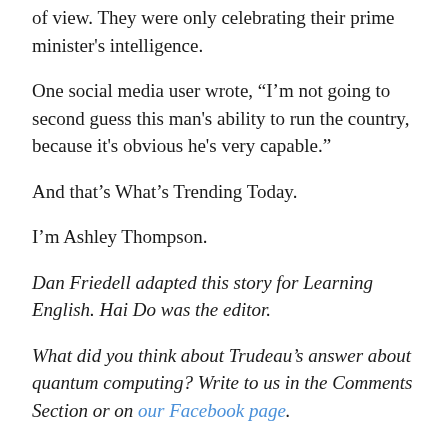of view. They were only celebrating their prime minister's intelligence.
One social media user wrote, “I’m not going to second guess this man’s ability to run the country, because it’s obvious he’s very capable.”
And that’s What’s Trending Today.
I’m Ashley Thompson.
Dan Friedell adapted this story for Learning English. Hai Do was the editor.
What did you think about Trudeau’s answer about quantum computing? Write to us in the Comments Section or on our Facebook page.